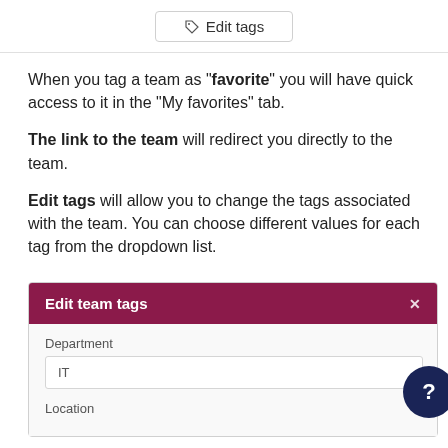[Figure (screenshot): UI bar showing a button with tag icon and 'Edit tags' label, with white background and light gray border]
When you tag a team as "favorite" you will have quick access to it in the "My favorites" tab.
The link to the team will redirect you directly to the team.
Edit tags will allow you to change the tags associated with the team. You can choose different values for each tag from the dropdown list.
[Figure (screenshot): Edit team tags modal dialog with dark red/maroon header, Department field showing 'IT', Location label, and a dark navy help button with '?' symbol]